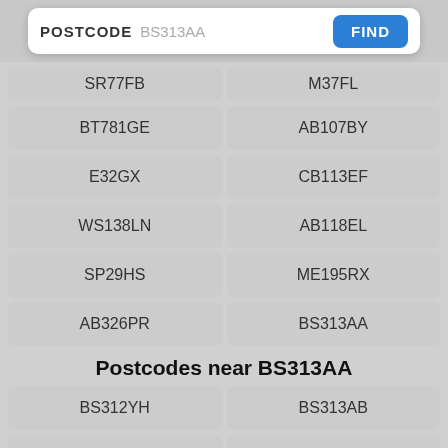Recent searches
POSTCODE  BS313AA
SR77FB
M37FL
BT781GE
AB107BY
E32GX
CB113EF
WS138LN
AB118EL
SP29HS
ME195RX
AB326PR
BS313AA
Postcodes near BS313AA
BS312YH
BS313AB
BS313AD
BS313AE